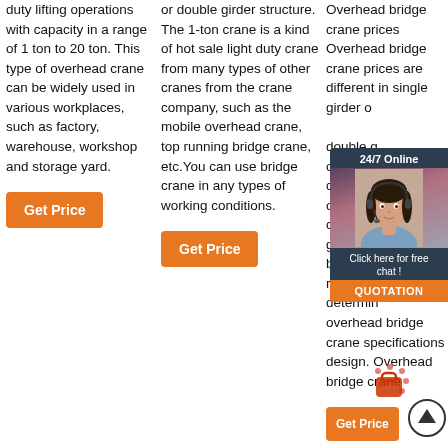duty lifting operations with capacity in a range of 1 ton to 20 ton. This type of overhead crane can be widely used in various workplaces, such as factory, warehouse, workshop and storage yard.
Get Price
or double girder structure. The 1-ton crane is a kind of hot sale light duty crane from many types of other cranes from the crane company, such as the mobile overhead crane, top running bridge crane, etc.You can use bridge crane in any types of working conditions.
Get Price
Overhead bridge crane prices Overhead bridge crane prices are different in single girder overhead bridge crane and double girder overhead bridge crane; while the overhead bridge crane for single girder overhead bridge crane is relatively... is determined by overhead bridge crane specifications design. Overhead bridge crane
[Figure (infographic): Customer service chat widget showing a female agent with headset, '24/7 Online' header, 'Click here for free chat!' text, and an orange QUOTATION button]
Get Price